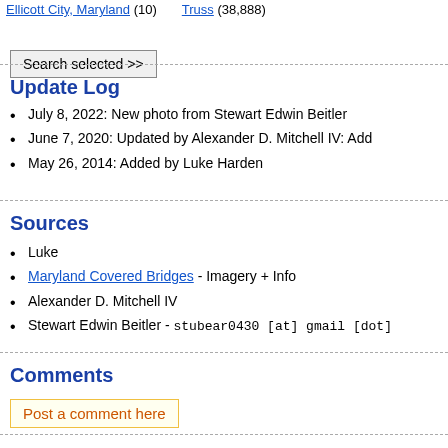Ellicott City, Maryland (10)   Truss (38,888)
Search selected >>
Update Log
July 8, 2022: New photo from Stewart Edwin Beitler
June 7, 2020: Updated by Alexander D. Mitchell IV: Add
May 26, 2014: Added by Luke Harden
Sources
Luke
Maryland Covered Bridges - Imagery + Info
Alexander D. Mitchell IV
Stewart Edwin Beitler - stubear0430 [at] gmail [dot]
Comments
Post a comment here